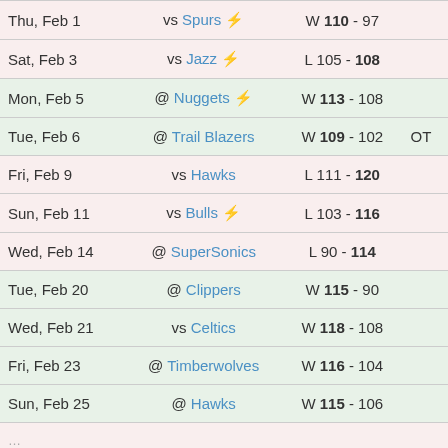| Date | Opponent | Result | Note |
| --- | --- | --- | --- |
| Thu, [Feb 1] | vs Spurs ⚡ | W [score] - [score] |  |
| Sat, Feb 3 | vs Jazz ⚡ | L 105 - 108 |  |
| Mon, Feb 5 | @ Nuggets ⚡ | W 113 - 108 |  |
| Tue, Feb 6 | @ Trail Blazers | W 109 - 102 | OT |
| Fri, Feb 9 | vs Hawks | L 111 - 120 |  |
| Sun, Feb 11 | vs Bulls ⚡ | L 103 - 116 |  |
| Wed, Feb 14 | @ SuperSonics | L 90 - 114 |  |
| Tue, Feb 20 | @ Clippers | W 115 - 90 |  |
| Wed, Feb 21 | vs Celtics | W 118 - 108 |  |
| Fri, Feb 23 | @ Timberwolves | W 116 - 104 |  |
| Sun, Feb 25 | @ Hawks | W 115 - 106 |  |